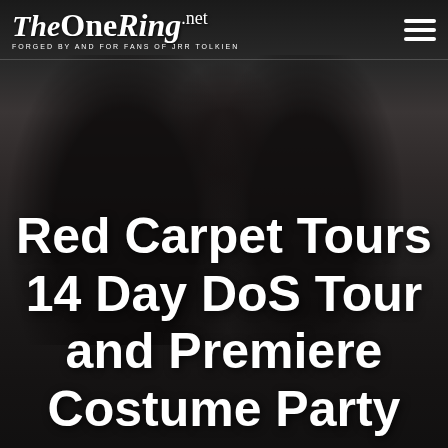TheOneRing.net — FORGED BY AND FOR FANS OF JRR TOLKIEN
[Figure (photo): Dark moody black and white photo of two figures in fantasy/medieval costumes resembling dwarves or dark warriors from The Hobbit/Lord of the Rings, one holding a spear or staff, serving as background for the webpage header]
Red Carpet Tours 14 Day DoS Tour and Premiere Costume Party